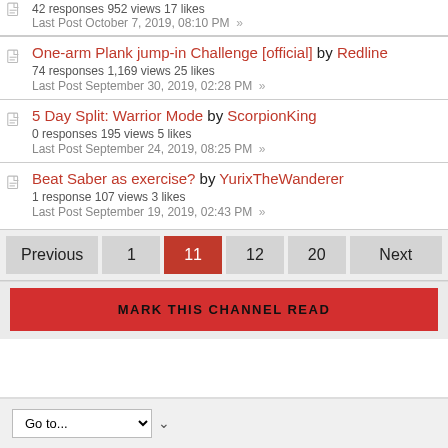42 responses 952 views 17 likes
Last Post October 7, 2019, 08:10 PM »
One-arm Plank jump-in Challenge [official] by Redline
74 responses 1,169 views 25 likes
Last Post September 30, 2019, 02:28 PM »
5 Day Split: Warrior Mode by ScorpionKing
0 responses 195 views 5 likes
Last Post September 24, 2019, 08:25 PM »
Beat Saber as exercise? by YurixTheWanderer
1 response 107 views 3 likes
Last Post September 19, 2019, 02:43 PM »
Previous 1 11 12 20 Next
MARK THIS CHANNEL READ
Go to...